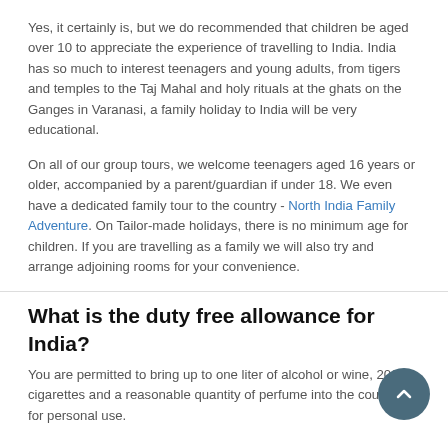Yes, it certainly is, but we do recommended that children be aged over 10 to appreciate the experience of travelling to India. India has so much to interest teenagers and young adults, from tigers and temples to the Taj Mahal and holy rituals at the ghats on the Ganges in Varanasi, a family holiday to India will be very educational.
On all of our group tours, we welcome teenagers aged 16 years or older, accompanied by a parent/guardian if under 18. We even have a dedicated family tour to the country - North India Family Adventure. On Tailor-made holidays, there is no minimum age for children. If you are travelling as a family we will also try and arrange adjoining rooms for your convenience.
What is the duty free allowance for India?
You are permitted to bring up to one liter of alcohol or wine, 200 cigarettes and a reasonable quantity of perfume into the country for personal use.